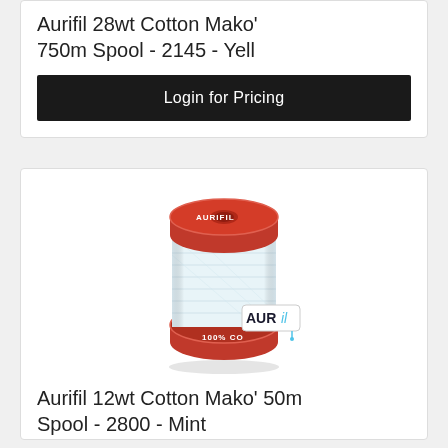Aurifil 28wt Cotton Mako' 750m Spool - 2145 - Yell
Login for Pricing
[Figure (photo): A small spool of pale mint/white Aurifil thread with a red top and bottom. The spool has 'AURIFIL' printed on the red cap and '100% CO' visible on the bottom. An Aurifil logo tag is visible on the lower right.]
Aurifil 12wt Cotton Mako' 50m Spool - 2800 - Mint